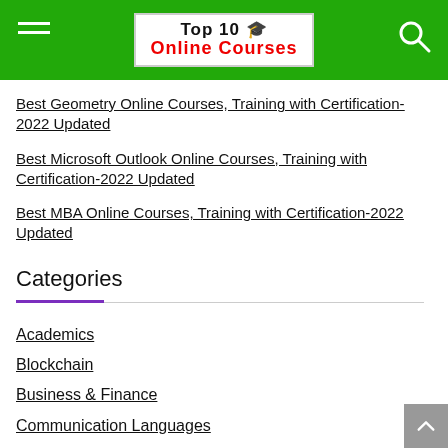Top 10 Online Courses
Best Geometry Online Courses, Training with Certification-2022 Updated
Best Microsoft Outlook Online Courses, Training with Certification-2022 Updated
Best MBA Online Courses, Training with Certification-2022 Updated
Categories
Academics
Blockchain
Business & Finance
Communication Languages
Design
Development
E-Commerce